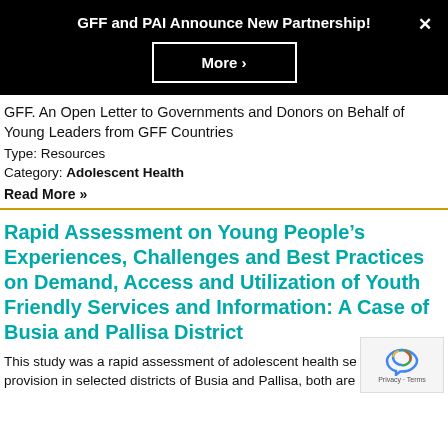GFF and PAI Announce New Partnership!
More ›
GFF. An Open Letter to Governments and Donors on Behalf of Young Leaders from GFF Countries
Type: Resources
Category: Adolescent Health
Read More »
Rapid Assessment on Young People's Experiences, Challenges and Best Practices on Demand, Access and Utilization of Youth Friendly Services and Information: A Case of Busia and Pallisa District
This study was a rapid assessment of adolescent health se… provision in selected districts of Busia and Pallisa, both are…